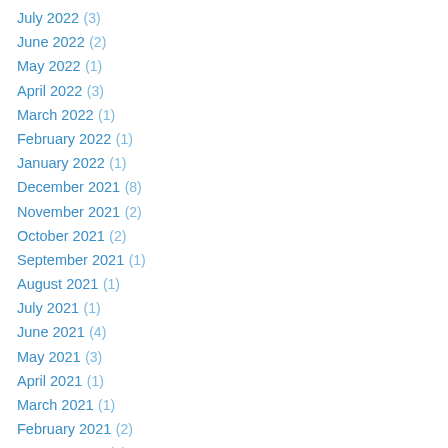July 2022 (3)
June 2022 (2)
May 2022 (1)
April 2022 (3)
March 2022 (1)
February 2022 (1)
January 2022 (1)
December 2021 (8)
November 2021 (2)
October 2021 (2)
September 2021 (1)
August 2021 (1)
July 2021 (1)
June 2021 (4)
May 2021 (3)
April 2021 (1)
March 2021 (1)
February 2021 (2)
January 2021 (1)
December 2020 (3)